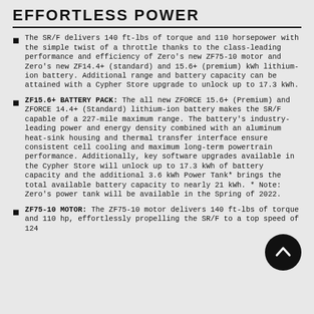EFFORTLESS POWER
The SR/F delivers 140 ft-lbs of torque and 110 horsepower with the simple twist of a throttle thanks to the class-leading performance and efficiency of Zero's new ZF75-10 motor and Zero's new ZF14.4+ (standard) and 15.6+ (premium) kWh lithium-ion battery. Additional range and battery capacity can be attained with a Cypher Store upgrade to unlock up to 17.3 kWh.
ZF15.6+ BATTERY PACK: The all new ZFORCE 15.6+ (Premium) and ZFORCE 14.4+ (Standard) lithium-ion battery makes the SR/F capable of a 227-mile maximum range. The battery's industry-leading power and energy density combined with an aluminum heat-sink housing and thermal transfer interface ensure consistent cell cooling and maximum long-term powertrain performance. Additionally, key software upgrades available in the Cypher Store will unlock up to 17.3 kWh of battery capacity and the additional 3.6 kWh Power Tank* brings the total available battery capacity to nearly 21 kWh. * Note: Zero's power tank will be available in the Spring of 2022.
ZF75-10 MOTOR: The ZF75-10 motor delivers 140 ft-lbs of torque and 110 hp, effortlessly propelling the SR/F to a top speed of 124 mph. Friday-evening commutes and interstate journeys...